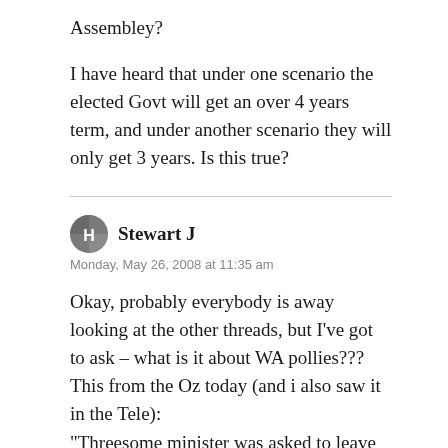Assembley?
I have heard that under one scenario the elected Govt will get an over 4 years term, and under another scenario they will only get 3 years. Is this true?
Stewart J
Monday, May 26, 2008 at 11:35 am
Okay, probably everybody is away looking at the other threads, but I’ve got to ask – what is it about WA pollies??? This from the Oz today (and i also saw it in the Tele):
“Threesome minister was asked to leave party